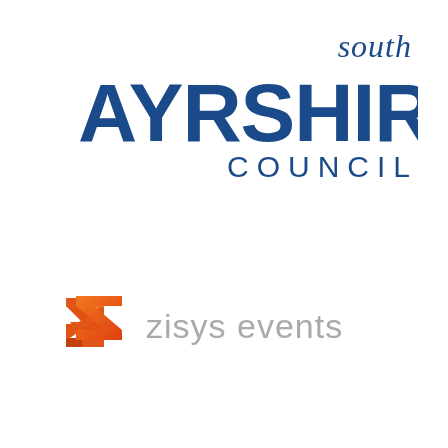[Figure (logo): South Ayrshire Council logo — blue text with 'south' in italic serif above large bold 'AYRSHIRE' in sans-serif and 'COUNCIL' in spaced caps below]
[Figure (logo): Zisys Events logo — stylised double-Z icon in orange/red gradient next to 'zisys events' in grey light sans-serif text]